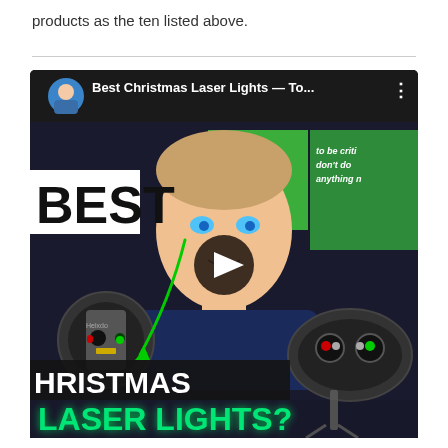products as the ten listed above.
[Figure (screenshot): YouTube video thumbnail/player for 'Best Christmas Laser Lights — To...' showing a man holding laser light devices with overlaid text reading BEST CHRISTMAS LASER LIGHTS?]